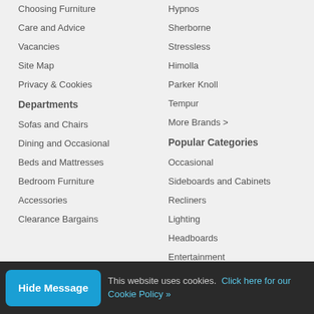Choosing Furniture
Care and Advice
Vacancies
Site Map
Privacy & Cookies
Hypnos
Sherborne
Stressless
Himolla
Parker Knoll
Tempur
More Brands >
Departments
Popular Categories
Sofas and Chairs
Dining and Occasional
Beds and Mattresses
Bedroom Furniture
Accessories
Clearance Bargains
Occasional
Sideboards and Cabinets
Recliners
Lighting
Headboards
Entertainment
Art and Sculptures
Mattresses
Pillows and Accessories
This website uses cookies. Click here for our Cookie Policy »